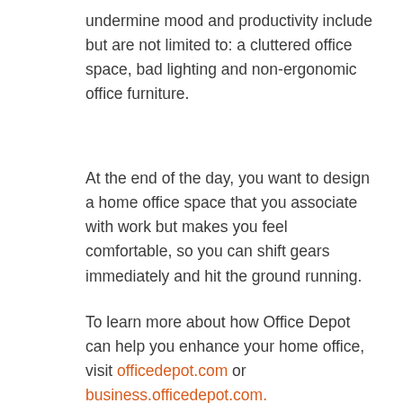undermine mood and productivity include but are not limited to: a cluttered office space, bad lighting and non-ergonomic office furniture.
At the end of the day, you want to design a home office space that you associate with work but makes you feel comfortable, so you can shift gears immediately and hit the ground running.
To learn more about how Office Depot can help you enhance your home office, visit officedepot.com or business.officedepot.com.
Related Content
[Figure (photo): A dark-toned photograph showing a person, partially visible, against a dark blue background.]